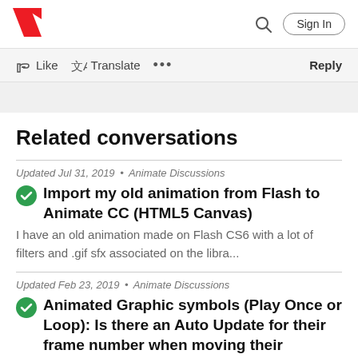Adobe | Sign In
Like  Translate  ...  Reply
Related conversations
Updated Jul 31, 2019 • Animate Discussions
Import my old animation from Flash to Animate CC (HTML5 Canvas)
I have an old animation made on Flash CS6 with a lot of filters and .gif sfx associated on the libra...
Updated Feb 23, 2019 • Animate Discussions
Animated Graphic symbols (Play Once or Loop): Is there an Auto Update for their frame number when moving their keyframes on the timeline for Classic